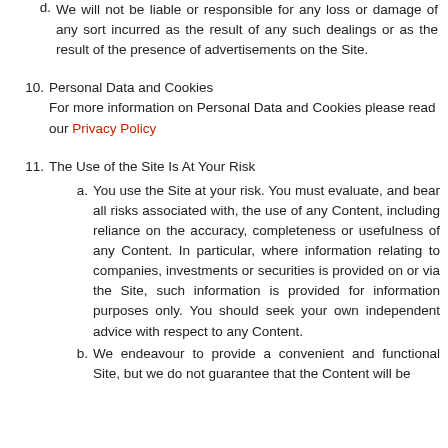d. We will not be liable or responsible for any loss or damage of any sort incurred as the result of any such dealings or as the result of the presence of advertisements on the Site.
10. Personal Data and Cookies
For more information on Personal Data and Cookies please read our Privacy Policy
11. The Use of the Site Is At Your Risk
a. You use the Site at your risk. You must evaluate, and bear all risks associated with, the use of any Content, including reliance on the accuracy, completeness or usefulness of any Content. In particular, where information relating to companies, investments or securities is provided on or via the Site, such information is provided for information purposes only. You should seek your own independent advice with respect to any Content.
b. We endeavour to provide a convenient and functional Site, but we do not guarantee that the Content will be